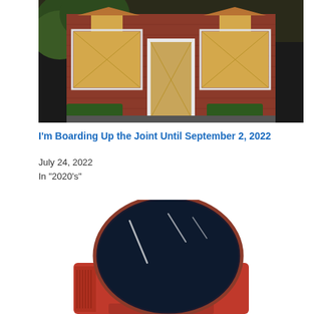[Figure (photo): A brick building with all windows and doors boarded up with large sheets of plywood. There is a tree visible on the left and trimmed hedges in front.]
I'm Boarding Up the Joint Until September 2, 2022
July 24, 2022
In "2020's"
[Figure (photo): A retro-style spherical television set with a dark/navy blue round screen and a red/orange body, sitting on a red base.]